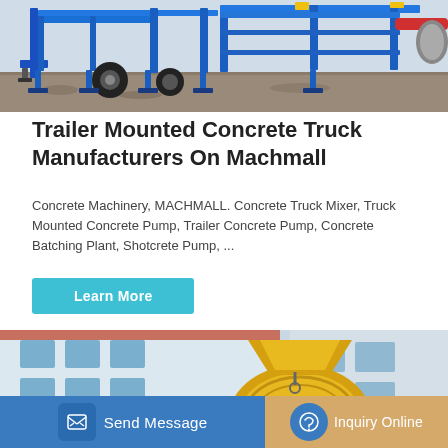[Figure (photo): Blue trailer-mounted concrete pump machinery on a construction site with gravel ground]
Trailer Mounted Concrete Truck Manufacturers On Machmall
Concrete Machinery, MACHMALL. Concrete Truck Mixer, Truck Mounted Concrete Pump, Trailer Concrete Pump, Concrete Batching Plant, Shotcrete Pump, ...
Learn More
[Figure (photo): Yellow concrete mixer machine parked in front of a building]
Send Message
Inquiry Online